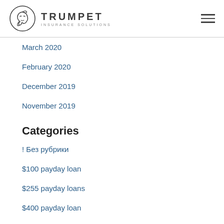TRUMPET INSURANCE SOLUTIONS
March 2020
February 2020
December 2019
November 2019
Categories
! Без рубрики
$100 payday loan
$255 payday loans
$400 payday loan